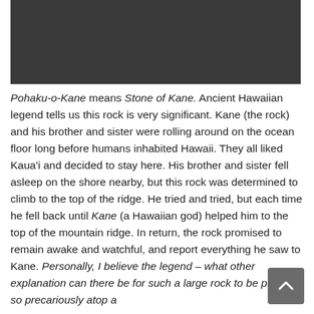[Figure (photo): Dark rectangular image at the top of the page, appears to be a photo with very dark/black tones]
Pohaku-o-Kane means Stone of Kane. Ancient Hawaiian legend tells us this rock is very significant. Kane (the rock) and his brother and sister were rolling around on the ocean floor long before humans inhabited Hawaii. They all liked Kaua'i and decided to stay here. His brother and sister fell asleep on the shore nearby, but this rock was determined to climb to the top of the ridge. He tried and tried, but each time he fell back until Kane (a Hawaiian god) helped him to the top of the mountain ridge. In return, the rock promised to remain awake and watchful, and report everything he saw to Kane. Personally, I believe the legend – what other explanation can there be for such a large rock to be perched so precariously atop a ridge, and remain there for so long?